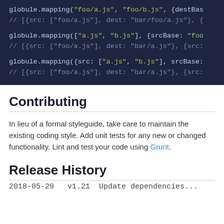[Figure (screenshot): Dark-themed code block showing three globule.mapping() JavaScript examples with green string literals and gray comment lines on a dark navy background.]
Contributing
In lieu of a formal styleguide, take care to maintain the existing coding style. Add unit tests for any new or changed functionality. Lint and test your code using Grunt.
Release History
2018-05-29   v1.21   Update dependencies...